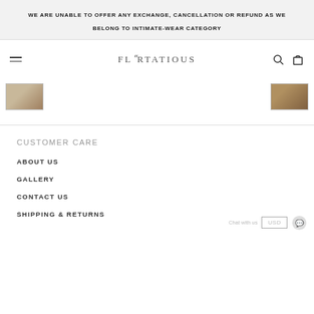WE ARE UNABLE TO OFFER ANY EXCHANGE, CANCELLATION OR REFUND AS WE BELONG TO INTIMATE-WEAR CATEGORY
FLIRTATIOUS
[Figure (photo): Two small product thumbnail images of lingerie items]
CUSTOMER CARE
ABOUT US
GALLERY
CONTACT US
SHIPPING & RETURNS